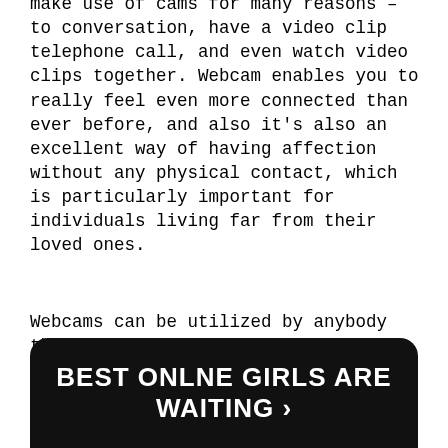make use of cams for many reasons – to conversation, have a video clip telephone call, and even watch video clips together. Webcam enables you to really feel even more connected than ever before, and also it's also an excellent way of having affection without any physical contact, which is particularly important for individuals living far from their loved ones.
Webcams can be utilized by anybody that wishes to get in touch with others without leaving their home, and they can see the various other individual in real-time.
[Figure (infographic): Black rounded rectangle banner with white bold text reading 'BEST ONLNE GIRLS ARE WAITING ›']